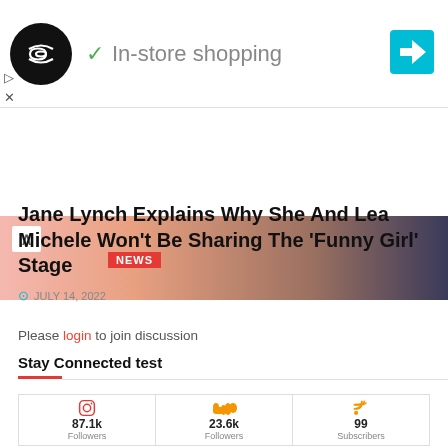[Figure (screenshot): Ad banner with circular black logo with infinity symbol, green checkmark, 'In-store shopping' text, blue diamond navigation icon, and play/close controls]
[Figure (photo): Partial photo of people at top, with red NEWS badge and chevron up control overlay]
Jane Lynch Explains Why She And Lea Michele Won't Be Sharing The 'Funny Girl' Stage
JULY 14, 2022
Please login to join discussion
Stay Connected test
| Instagram | SoundCloud | RSS |
| --- | --- | --- |
| 87.1k Followers | 23.6k Followers | 99 Subscribers |